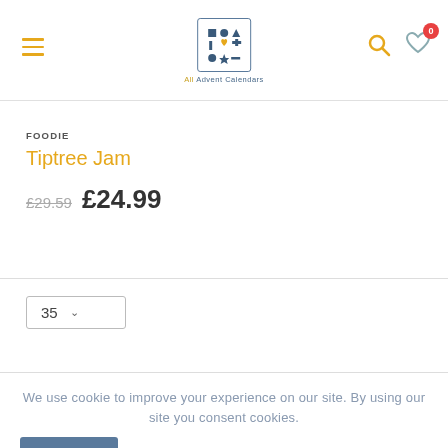[Figure (logo): All Advent Calendars logo - grid of shapes with heart in center, in a box]
FOODIE
Tiptree Jam
£29.59  £24.99
35 ∨
We use cookie to improve your experience on our site. By using our site you consent cookies.
Accept